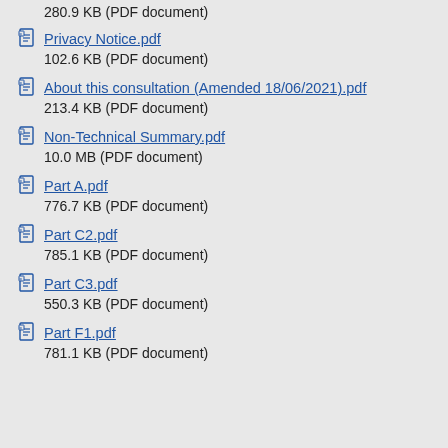280.9 KB (PDF document)
Privacy Notice.pdf
102.6 KB (PDF document)
About this consultation (Amended 18/06/2021).pdf
213.4 KB (PDF document)
Non-Technical Summary.pdf
10.0 MB (PDF document)
Part A.pdf
776.7 KB (PDF document)
Part C2.pdf
785.1 KB (PDF document)
Part C3.pdf
550.3 KB (PDF document)
Part F1.pdf
781.1 KB (PDF document)